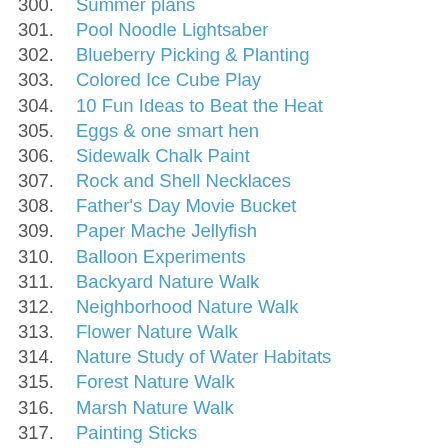300. Summer plans
301. Pool Noodle Lightsaber
302. Blueberry Picking & Planting
303. Colored Ice Cube Play
304. 10 Fun Ideas to Beat the Heat
305. Eggs & one smart hen
306. Sidewalk Chalk Paint
307. Rock and Shell Necklaces
308. Father's Day Movie Bucket
309. Paper Mache Jellyfish
310. Balloon Experiments
311. Backyard Nature Walk
312. Neighborhood Nature Walk
313. Flower Nature Walk
314. Nature Study of Water Habitats
315. Forest Nature Walk
316. Marsh Nature Walk
317. Painting Sticks
318. Counting Sticks Game
319. Fairy Garden
320. Herb Walk
321. Summer Nature Walk